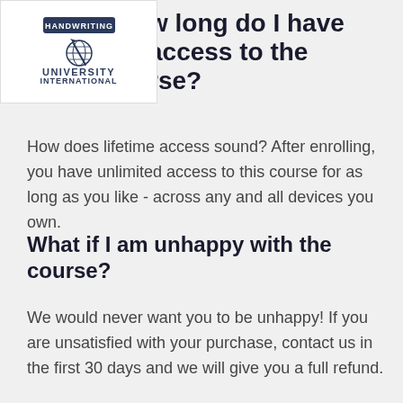[Figure (logo): Handwriting University International logo with globe graphic]
How long do I have access to the course?
How does lifetime access sound? After enrolling, you have unlimited access to this course for as long as you like - across any and all devices you own.
What if I am unhappy with the course?
We would never want you to be unhappy! If you are unsatisfied with your purchase, contact us in the first 30 days and we will give you a full refund.